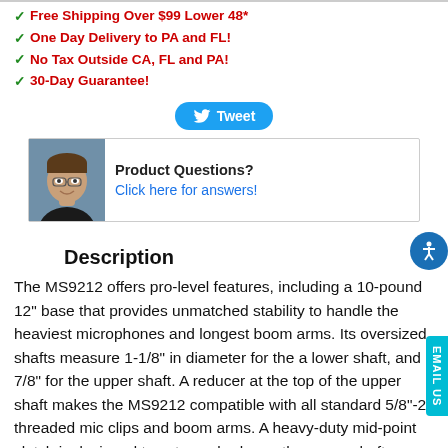✓ Free Shipping Over $99 Lower 48*
✓ One Day Delivery to PA and FL!
✓ No Tax Outside CA, FL and PA!
✓ 30-Day Guarantee!
[Figure (other): Tweet button with Twitter bird icon]
[Figure (photo): Headshot of a young man with glasses in a black shirt, used for product questions section]
Product Questions? Click here for answers!
Description
The MS9212 offers pro-level features, including a 10-pound 12" base that provides unmatched stability to handle the heaviest microphones and longest boom arms. Its oversized shafts measure 1-1/8" in diameter for the a lower shaft, and 7/8" for the upper shaft. A reducer at the top of the upper shaft makes the MS9212 compatible with all standard 5/8"-2 threaded mic clips and boom arms. A heavy-duty mid-point clutch is designed to act as a brake on the upper shaft, so